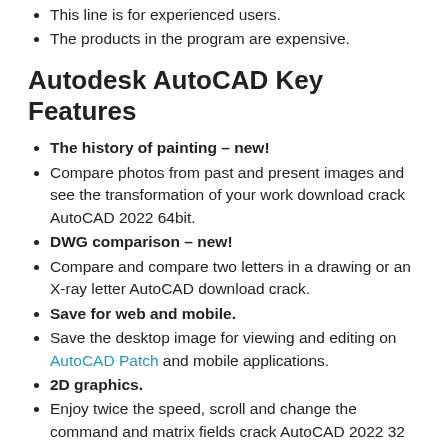This line is for experienced users.
The products in the program are expensive.
Autodesk AutoCAD Key Features
The history of painting – new!
Compare photos from past and present images and see the transformation of your work download crack AutoCAD 2022 64bit.
DWG comparison – new!
Compare and compare two letters in a drawing or an X-ray letter AutoCAD download crack.
Save for web and mobile.
Save the desktop image for viewing and editing on AutoCAD Patch and mobile applications.
2D graphics.
Enjoy twice the speed, scroll and change the command and matrix fields crack AutoCAD 2022 32 bits.
Shared opinions.